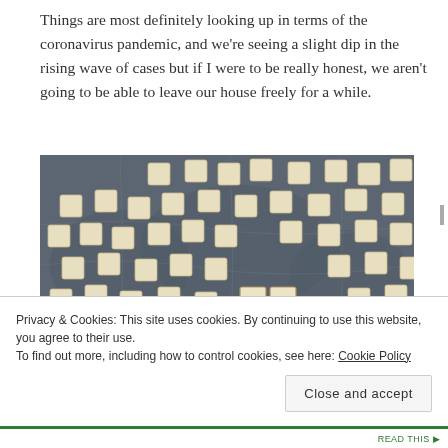Things are most definitely looking up in terms of the coronavirus pandemic, and we're seeing a slight dip in the rising wave of cases but if I were to be really honest, we aren't going to be able to leave our house freely for a while.
[Figure (photo): Overhead photo of Scrabble tiles scattered on a world map background. Some tiles are arranged to spell 'WE WILL BE O...' (partially visible). Many tiles are face-down or scattered randomly across the image.]
Privacy & Cookies: This site uses cookies. By continuing to use this website, you agree to their use.
To find out more, including how to control cookies, see here: Cookie Policy
Close and accept